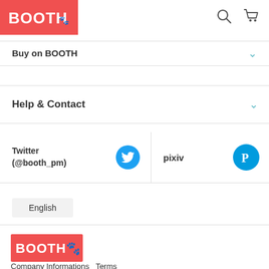[Figure (logo): BOOTH logo in red header bar with white text and paw icon, plus search and cart icons]
Buy on BOOTH
Help & Contact
Twitter (@booth_pm)
pixiv
English
[Figure (logo): BOOTH logo in red rectangle]
Company Informations   Terms
Terms of use for warehouse   Guidelines
Privacy Policy   Legal Policy